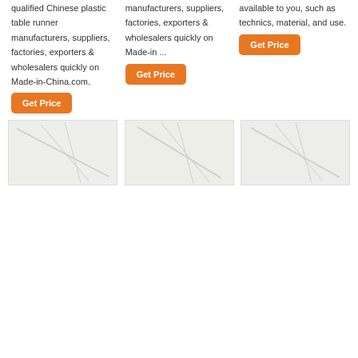qualified Chinese plastic table runner manufacturers, suppliers, factories, exporters & wholesalers quickly on Made-in-China.com.
manufacturers, suppliers, factories, exporters & wholesalers quickly on Made-in ...
available to you, such as technics, material, and use.
Get Price
Get Price
Get Price
[Figure (photo): White fabric texture photo 1]
[Figure (photo): White fabric texture photo 2]
[Figure (photo): White fabric texture photo 3]